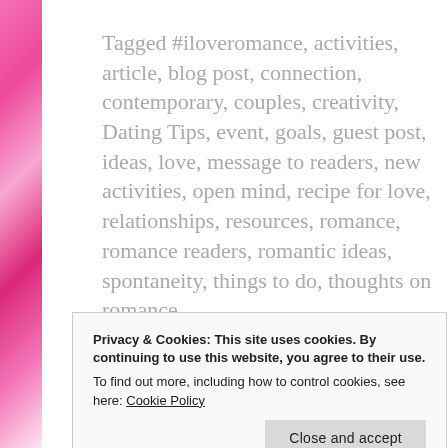Tagged #iloveromance, activities, article, blog post, connection, contemporary, couples, creativity, Dating Tips, event, goals, guest post, ideas, love, message to readers, new activities, open mind, recipe for love, relationships, resources, romance, romance readers, romantic ideas, spontaneity, things to do, thoughts on romance
3 Comments
Privacy & Cookies: This site uses cookies. By continuing to use this website, you agree to their use. To find out more, including how to control cookies, see here: Cookie Policy
Close and accept